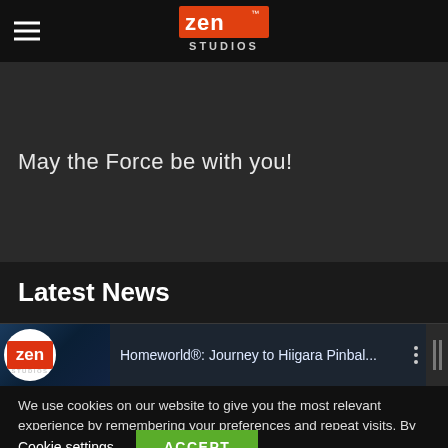Zen Studios - navigation bar with hamburger menu and logo
May the Force be with you!
Latest News
[Figure (screenshot): Homeworld®: Journey to Hiigara Pinbal... video thumbnail with Zen Studios logo]
We use cookies on our website to give you the most relevant experience by remembering your preferences and repeat visits. By clicking "Accept", you consent to the use of ALL the cookies.
Cookie settings   ACCEPT